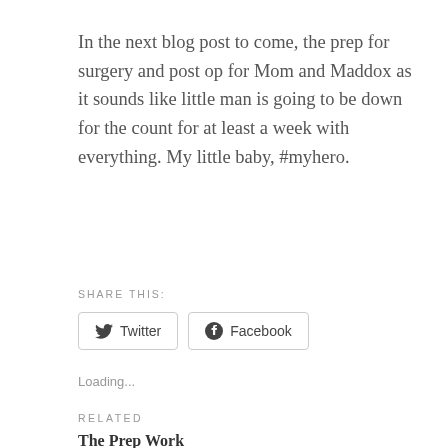In the next blog post to come, the prep for surgery and post op for Mom and Maddox as it sounds like little man is going to be down for the count for at least a week with everything. My little baby, #myhero.
SHARE THIS:
[Figure (other): Twitter and Facebook share buttons]
Loading...
RELATED
The Prep Work